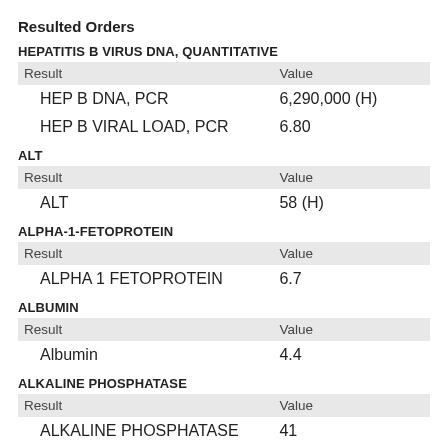Resulted Orders
HEPATITIS B VIRUS DNA, QUANTITATIVE
| Result | Value |
| --- | --- |
| HEP B DNA, PCR | 6,290,000 (H) |
| HEP B VIRAL LOAD, PCR | 6.80 |
ALT
| Result | Value |
| --- | --- |
| ALT | 58 (H) |
ALPHA-1-FETOPROTEIN
| Result | Value |
| --- | --- |
| ALPHA 1 FETOPROTEIN | 6.7 |
ALBUMIN
| Result | Value |
| --- | --- |
| Albumin | 4.4 |
ALKALINE PHOSPHATASE
| Result | Value |
| --- | --- |
| ALKALINE PHOSPHATASE | 41 |